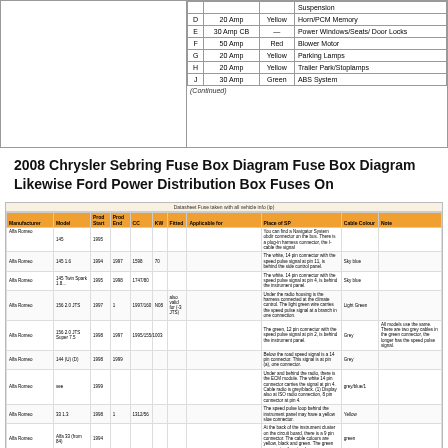[Figure (table-as-image): Left blank diagram box for fuse box layout]
|  |  |  | Suspension |
| --- | --- | --- | --- |
| D | 20 Amp | Yellow | Horn/PCM Memory |
| E | 30 Amp CB | — | Power Windows/Seats/Door Locks |
| F | 50 Amp | Red | Blower Motor |
| G | 20 Amp | Yellow | Parking Lamps |
| H | 20 Amp | Yellow | Trailer Park/Stoplamps |
| J | 30 Amp | Green | ABS System |
(Continued)
2008 Chrysler Sebring Fuse Box Diagram Fuse Box Diagram Likewise Ford Power Distribution Box Fuses On
| Manufacturer | Model | Prod Start | Prod End | CC | KW | Fitted | Applicable for | Place of SP | Cable Colour | Note |
| --- | --- | --- | --- | --- | --- | --- | --- | --- | --- | --- |
| Alfa Romeo | 145 | 1995 |  |  |  |  |  | You can find a Navigator System obdir connector on the bus... |  |  |
| Alfa Romeo | 145 1.6 | 1994 | 1997 | 1598 | 70 |  |  | The white, 14-pin connector with the speed pulse signal at pin 11... | Sky blue |  |
| Alfa Romeo | 145 Twin Spark 1.8... | 1995 | 1998 | 1747/80 |  |  |  | The white, 14-pin connector with the speed pulse signal at pin 4... | Sky blue |  |
| Alfa Romeo | 156 2.0 JTS | 1997 | 1 | 1997/160 | N08 | also valid for | With the engine | Under the radio housing is the harness connected at the climate control... | Light Green |  |
| Alfa Romeo | 156 2.0 JTS Super 7.5 | 1998 | 1997 | 1995/155/1003 |  |  |  | The green, 12-pin connector with the speed pulse signal at pin 2... | Grey | All models use the same. There are two grey cables... |
| Alfa Romeo | 144 (U) (D) | 1998 | 1999 |  |  |  |  | Below the road speed signal is a 14-pin connector... | Grey |  |
| Alfa Romeo | see | 1999 |  |  |  |  |  | Under and behind the radio, there is the ECM module... | grey/blue/1 |  |
| Alfa Romeo | 33 1.3 | 1998 | 1 | 1312/56 |  |  |  | The speed pulse loop behind the instrument panel may have a yellow sloe connector. | Yellow |  |
| Alfa Romeo | Alfa 33 (from 84) | 1994 |  |  |  |  |  | At the back of the instrument cluster on the circuit board, there is a 9-pin connector... | green |  |
| Alfa Romeo (Diesel) | AuC CR |  | 1999 |  |  |  |  | BENCH INSTRUMENT PANEL ATTACHED (BY IN...) | £1.80 |  |
| Alfa Romeo (Nordic) | Mondeo Twin Spark 2.0, 130 | 1999 | 1999 | 1970/6.50 |  |  | With the speed pulse signal at pin 7... | Sky blue |  |
| Alfa Romeo (Nordic) | Stardex |  | 1999 |  |  |  |  | Refer to instrument cluster at manual pg In >7. | £1.80 |  |
| Alfa Romeo | Stradadena 2 4.2 | 1999 |  |  |  |  | I.5 |  | yellow |  |
| AMV Xenopo | A 4 Minus |  |  |  |  |  |  | Short rightfield info of speedometer, Connector 'bend' |  |  |
| AMC | Espulsee |  | 167 |  |  |  |  | PCM cable at a circuit transmission box. | yellow |  |
| AMG (Mercedes) | AMG 600 |  |  |  |  |  |  | See Mercedes B Class, fitted OD. | green/white |  |
| AGDI | 50 front | 1991 | 1994 | 509/174 |  |  |  | brown connector 7/at at the main connector (our number k bottom)... | White/blue | The cable colour of all model... |
| A011 | 50 2.5 F | 1993 | 1995 | 2700/5.0/1058 |  |  | Above connector 7 at the optional black circular pulse (the steering column)... | White/blue | The cable colour of all mod... |
| A011 | 50 brown | 1993 | 1994 | 1946/120/1993 |  |  | Above connector 7 at the add-on natural curve below the steering column... | White/blue | The cable colour of all mod... |
| A060 | old 90 | 1988 |  |  |  |  |  | The end of range of global connectors indicate variable wheel... | £0.90 |  |
| KSD | 45 |  | 1999 |  |  |  |  | Refer accessories at transmission in t. | £1.80 |  |
| A001 | A5 1.0 I | 1996 | 1999 | 1596/74 | N07s, R5 |  | Various OK connecting fixing arrangements and mid-circuit cluster during the engines. There is a green 22-pin connector. The green/white ends at pin 20 of the top cable. | green/white | Normally fresh uses the same colour while blue. Firstly connector (SGI) is available please see Pin... |